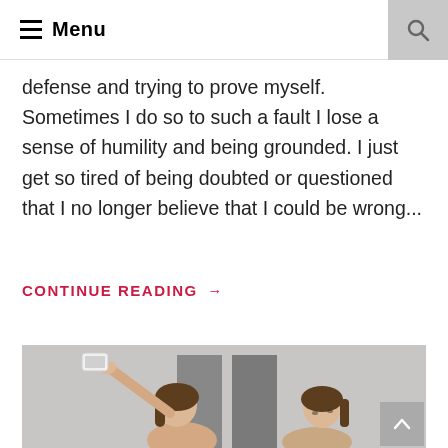☰ Menu
defense and trying to prove myself. Sometimes I do so to such a fault I lose a sense of humility and being grounded. I just get so tired of being doubted or questioned that I no longer believe that I could be wrong...
CONTINUE READING →
[Figure (photo): Two young women taking a selfie with a smartphone, standing indoors against a light grey wall with darker rectangular panels]